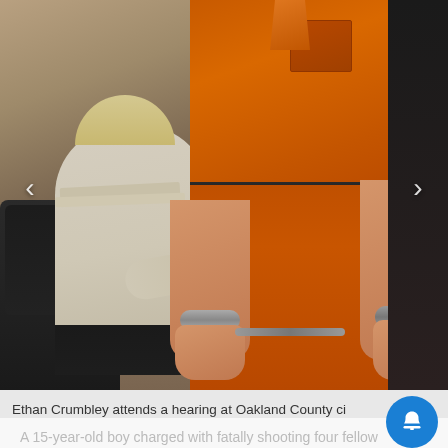[Figure (photo): Ethan Crumbley in an orange prison jumpsuit with handcuffs attending a court hearing. A person in white clothing is visible in the background at a desk. A dark uniformed figure is on the right edge. The setting is a courtroom with dark chairs and maroon carpet.]
Ethan Crumbley attends a hearing at Oakland County circuit court in Pontiac, Mich., on Tuesday, Feb. 22, 2022. Cr... s in a mass shooting that le...
A 15-year-old boy charged with fatally shooting four fellow